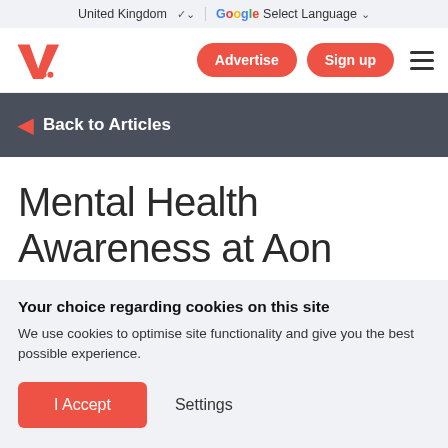United Kingdom  ∨   Google Select Language  ∨
[Figure (logo): VOD/streaming site logo in red with stylized V and quote marks]
Advertise   Sign up  ≡
◄ Back to Articles
Mental Health Awareness at Aon
Your choice regarding cookies on this site
We use cookies to optimise site functionality and give you the best possible experience.
I Accept   Settings